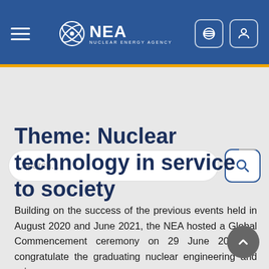NEA Nuclear Energy Agency
[Figure (screenshot): Search bar with rounded input field and search button icon]
Theme: Nuclear technology in service to society
Building on the success of the previous events held in August 2020 and June 2021, the NEA hosted a Global Commencement ceremony on 29 June 2022 to congratulate the graduating nuclear engineering and science